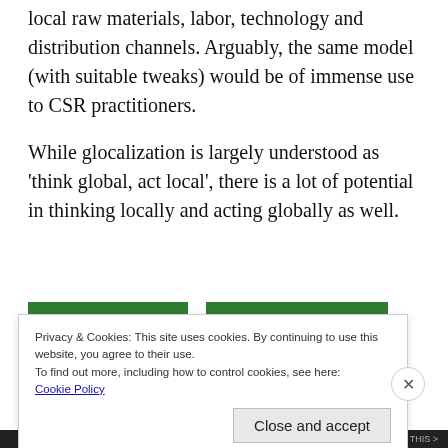local raw materials, labor, technology and distribution channels. Arguably, the same model (with suitable tweaks) would be of immense use to CSR practitioners.
While glocalization is largely understood as ‘think global, act local’, there is a lot of potential in thinking locally and acting globally as well.
Privacy & Cookies: This site uses cookies. By continuing to use this website, you agree to their use.
To find out more, including how to control cookies, see here:
Cookie Policy